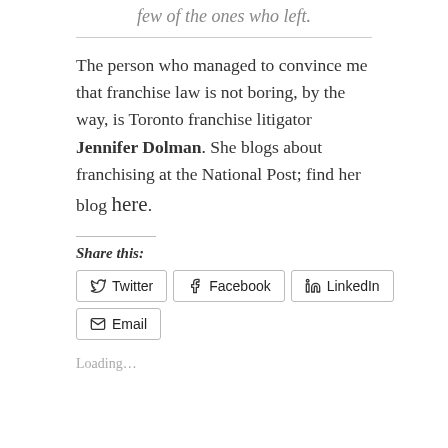few of the ones who left.
The person who managed to convince me that franchise law is not boring, by the way, is Toronto franchise litigator Jennifer Dolman. She blogs about franchising at the National Post; find her blog here.
Share this:
Twitter
Facebook
LinkedIn
Email
Loading...